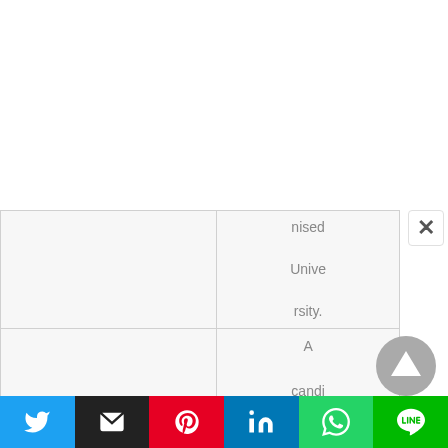|  | nised

University. |
|  | A candidate should |
[Figure (screenshot): Social media sharing bar with Twitter, Email, Pinterest, LinkedIn, WhatsApp, and LINE buttons]